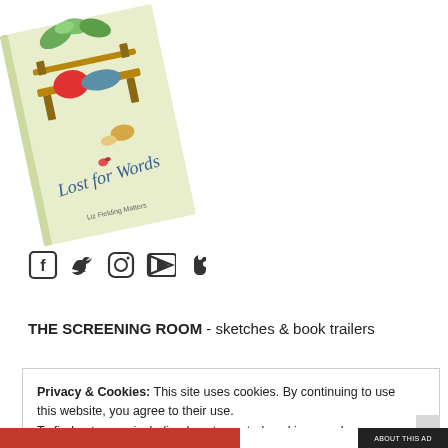[Figure (illustration): Book cover for 'Lost for Words' shown at an angle, light green/yellow background with watercolor illustration of a garden bench, flowers, and tea items]
[Figure (other): Social media icons: Facebook, Twitter, Instagram, YouTube, Tumblr]
THE SCREENING ROOM - sketches & book trailers
Privacy & Cookies: This site uses cookies. By continuing to use this website, you agree to their use.
To find out more, including how to control cookies, see here: Cookie Policy
Close and accept